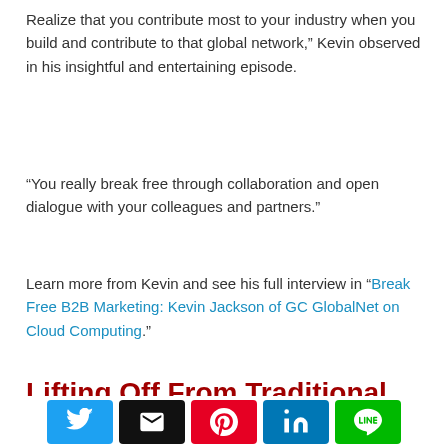Realize that you contribute most to your industry when you build and contribute to that global network,” Kevin observed in his insightful and entertaining episode.
“You really break free through collaboration and open dialogue with your colleagues and partners.”
Learn more from Kevin and see his full interview in “Break Free B2B Marketing: Kevin Jackson of GC GlobalNet on Cloud Computing.”
Lifting Off From Traditional B2B Marketing
[Figure (photo): Grey placeholder image area with a partial rounded card visible on the right edge]
[Figure (infographic): Social sharing bar with Twitter, Email, Pinterest, LinkedIn, and Line buttons]